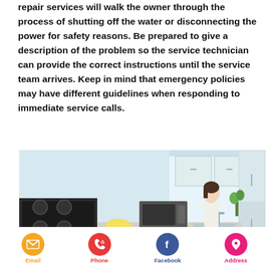repair services will walk the owner through the process of shutting off the water or disconnecting the power for safety reasons. Be prepared to give a description of the problem so the service technician can provide the correct instructions until the service team arrives. Keep in mind that emergency policies may have different guidelines when responding to immediate service calls.
[Figure (photo): A woman standing in a modern kitchen near a window with a sink, stove, and refrigerator visible. Yellow flowers on the counter.]
Email | Phone | Facebook | Address